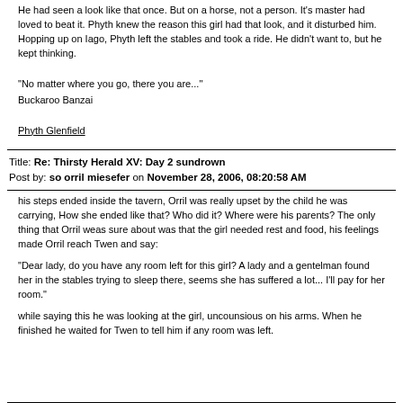He had seen a look like that once. But on a horse, not a person. It's master had loved to beat it. Phyth knew the reason this girl had that look, and it disturbed him. Hopping up on Iago, Phyth left the stables and took a ride. He didn't want to, but he kept thinking.
"No matter where you go, there you are..."
Buckaroo Banzai
Phyth Glenfield
Title: Re: Thirsty Herald XV: Day 2 sundrown
Post by: so orril miesefer on November 28, 2006, 08:20:58 AM
his steps ended inside the tavern, Orril was really upset by the child he was carrying, How she ended like that? Who did it? Where were his parents? The only thing that Orril weas sure about was that the girl needed rest and food, his feelings made Orril reach Twen and say:
"Dear lady, do you have any room left for this girl? A lady and a gentelman found her in the stables trying to sleep there, seems she has suffered a lot... I'll pay for her room."
while saying this he was looking at the girl, uncounsious on his arms. When he finished he waited for Twen to tell him if any room was left.